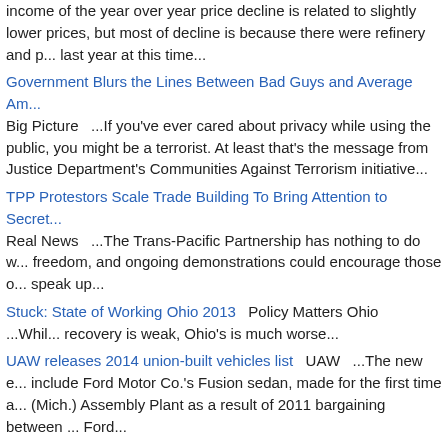income of the year over year price decline is related to slightly lower prices, but most of decline is because there were refinery and p... last year at this time...
Government Blurs the Lines Between Bad Guys and Average Am... Big Picture   ...If you've ever cared about privacy while using the public, you might be a terrorist. At least that's the message from Justice Department's Communities Against Terrorism initiative...
TPP Protestors Scale Trade Building To Bring Attention to Secre... Real News   ...The Trans-Pacific Partnership has nothing to do w... freedom, and ongoing demonstrations could encourage those o... speak up...
Stuck: State of Working Ohio 2013  Policy Matters Ohio   ...Whil... recovery is weak, Ohio's is much worse...
UAW releases 2014 union-built vehicles list  UAW   ...The new e... include Ford Motor Co.'s Fusion sedan, made for the first time a... (Mich.) Assembly Plant as a result of 2011 bargaining between ... Ford...
Wisconsin leads nation in removing most people from Medicaid... Times   ...By a wide margin, Wisconsin would remove more low... from Medicaid than any other state as part of a plan advanced... Walker still awaiting federal approval...